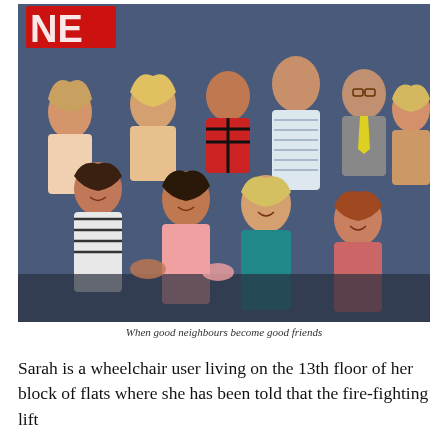[Figure (photo): Group photo of approximately 10 people (cast of Neighbours TV show) posing together against a blue/purple background. Some stand in the back row, others sit or kneel in the front. One man in a striped shirt stands prominently in the center-back. A blonde woman in teal is in the center-front. Text 'NE' visible on a sign in the background top-left.]
When good neighbours become good friends
Sarah is a wheelchair user living on the 13th floor of her block of flats where she has been told that the fire-fighting lift